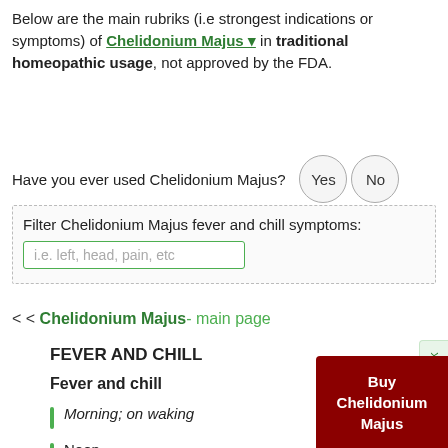Below are the main rubriks (i.e strongest indications or symptoms) of Chelidonium Majus in traditional homeopathic usage, not approved by the FDA.
Have you ever used Chelidonium Majus?
Filter Chelidonium Majus fever and chill symptoms:
< < Chelidonium Majus- main page
FEVER AND CHILL
Fever and chill
Morning; on waking
Noon
Afternoon
Evening